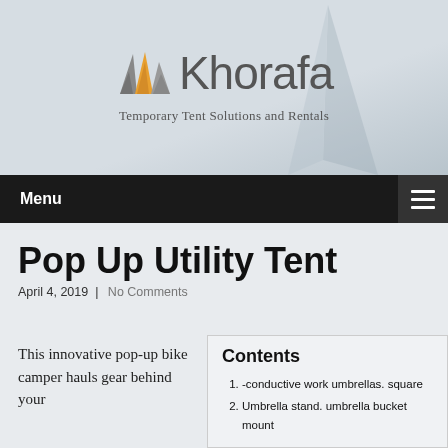[Figure (logo): Khorafa logo with orange and grey geometric tent/building icon and the text 'Khorafa' in grey, with tagline 'Temporary Tent Solutions and Rentals' below]
Menu
Pop Up Utility Tent
April 4, 2019  |  No Comments
This innovative pop-up bike camper hauls gear behind your
Contents
-conductive work umbrellas. square
Umbrella stand. umbrella bucket mount